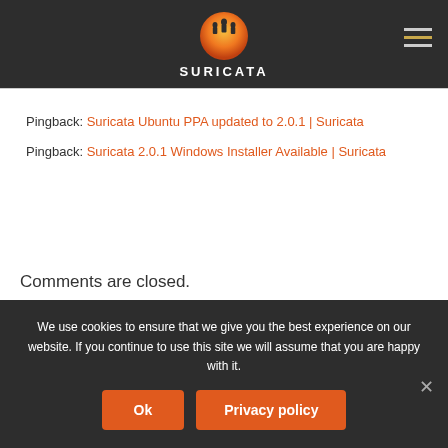[Figure (logo): Suricata logo: orange/yellow sun with meerkat silhouettes on top, white text SURICATA below]
Pingback: Suricata Ubuntu PPA updated to 2.0.1 | Suricata
Pingback: Suricata 2.0.1 Windows Installer Available | Suricata
Comments are closed.
We use cookies to ensure that we give you the best experience on our website. If you continue to use this site we will assume that you are happy with it.